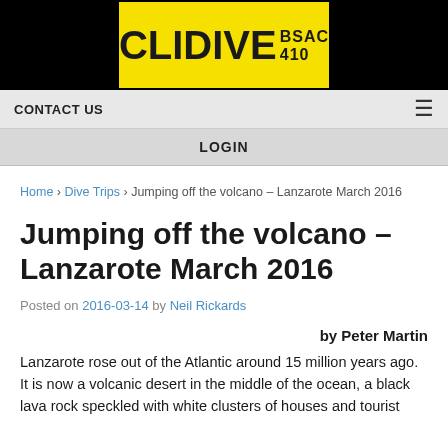[Figure (logo): CLIDIVE BSAC 410 logo on yellow background with black surround]
CONTACT US
LOGIN
Home › Dive Trips › Jumping off the volcano – Lanzarote March 2016
Jumping off the volcano – Lanzarote March 2016
Posted on 2016-03-14 by Neil Rickards
by Peter Martin
Lanzarote rose out of the Atlantic around 15 million years ago. It is now a volcanic desert in the middle of the ocean, a black lava rock speckled with white clusters of houses and tourist